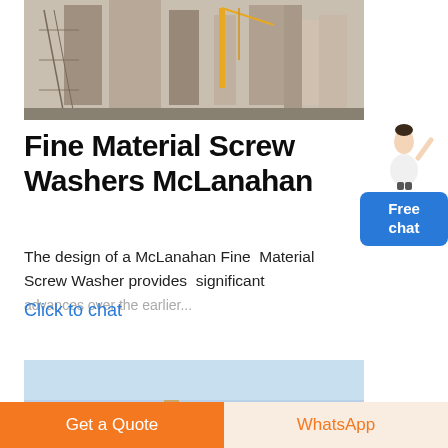[Figure (photo): Industrial facility with tall silos, scaffolding, cranes and industrial towers under construction.]
Fine Material Screw Washers McLanahan
The design of a McLanahan Fine Material Screw Washer provides significant
Click to chat
[Figure (photo): Bottom partial photo of industrial equipment against a light blue sky background.]